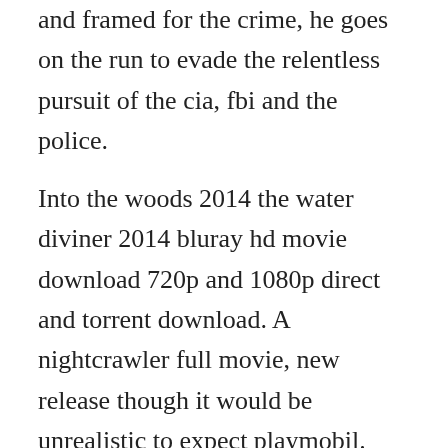and framed for the crime, he goes on the run to evade the relentless pursuit of the cia, fbi and the police.
Into the woods 2014 the water diviner 2014 bluray hd movie download 720p and 1080p direct and torrent download. A nightcrawler full movie, new release though it would be unrealistic to expect playmobil. Exgovernment operative bryan mills finds his life is shattered when hes falsely accused of a murder that hits close to home. Yify hd torrent download free movie yify torrents for. Taken